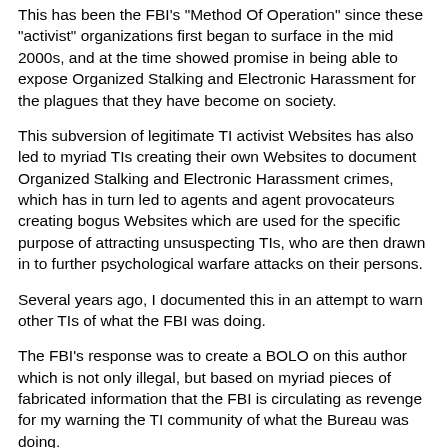This has been the FBI's "Method Of Operation" since these "activist" organizations first began to surface in the mid 2000s, and at the time showed promise in being able to expose Organized Stalking and Electronic Harassment for the plagues that they have become on society.
This subversion of legitimate TI activist Websites has also led to myriad TIs creating their own Websites to document Organized Stalking and Electronic Harassment crimes, which has in turn led to agents and agent provocateurs creating bogus Websites which are used for the specific purpose of attracting unsuspecting TIs, who are then drawn in to further psychological warfare attacks on their persons.
Several years ago, I documented this in an attempt to warn other TIs of what the FBI was doing.
The FBI's response was to create a BOLO on this author which is not only illegal, but based on myriad pieces of fabricated information that the FBI is circulating as revenge for my warning the TI community of what the Bureau was doing.